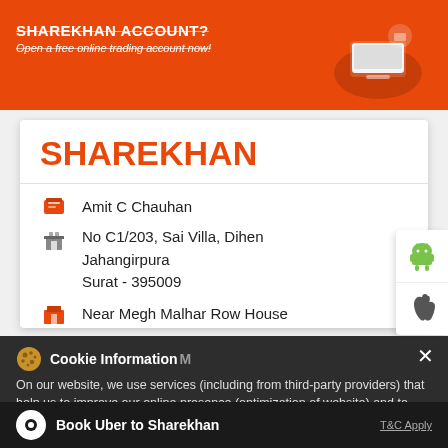[Figure (screenshot): Orange Sharekhan banner with text 'SHAREKHAN ACCOUNT?' and 'Open a free online trading account now!' and an illustration of a laptop/trading device]
SHAREKHAN
Amit C Chauhan
No C1/203, Sai Villa, Dihen Jahangirpura
Surat - 395009
Near Megh Malhar Row House
Cookie Information M
On our website, we use services (including from third-party providers) that help us to improve our online presence (optimization of website) and to display content that is geared to their interests. We need your consent before being able to use these services.
Book Uber to Sharekhan
T&C Apply